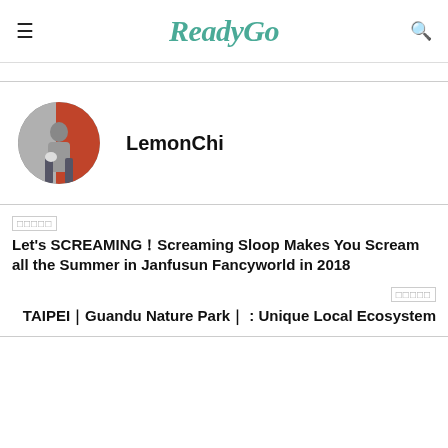ReadyGo
[Figure (photo): Circular profile photo of a person standing against a grey shutter and orange/red wall background]
LemonChi
□□□□□
Let's SCREAMING！Screaming Sloop Makes You Scream all the Summer in Janfusun Fancyworld in 2018
□□□□□
TAIPEI｜Guandu Nature Park｜ : Unique Local Ecosystem